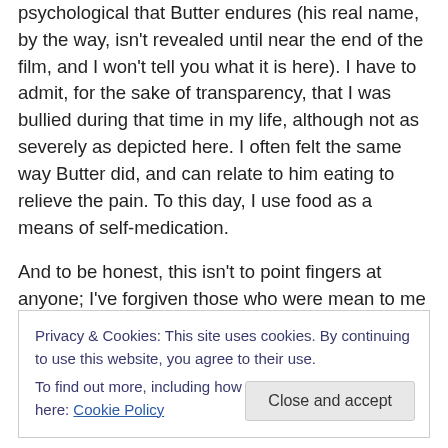psychological that Butter endures (his real name, by the way, isn't revealed until near the end of the film, and I won't tell you what it is here). I have to admit, for the sake of transparency, that I was bullied during that time in my life, although not as severely as depicted here. I often felt the same way Butter did, and can relate to him eating to relieve the pain. To this day, I use food as a means of self-medication.
And to be honest, this isn't to point fingers at anyone; I've forgiven those who were mean to me back then and moved on long ago. This just is to explain why I do feel an
Privacy & Cookies: This site uses cookies. By continuing to use this website, you agree to their use.
To find out more, including how to control cookies, see here: Cookie Policy
of his pain and how she has failed to see it. It's a credit to